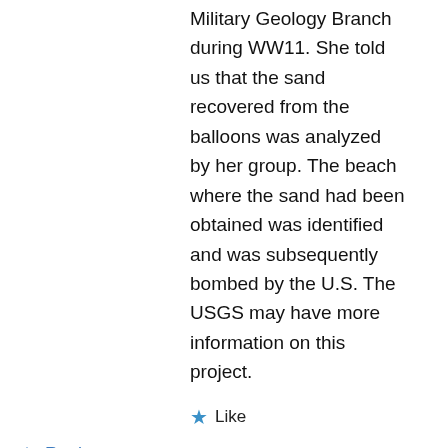Military Geology Branch during WW11. She told us that the sand recovered from the balloons was analyzed by her group. The beach where the sand had been obtained was identified and was subsequently bombed by the U.S. The USGS may have more information on this project.
Like
↳ Reply
govbooktalk on October 4, 2010 at 2:47 pm
That's an interesting sidelight — thanks for the information!
Like